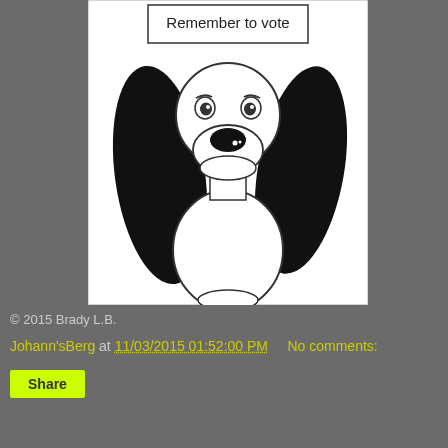[Figure (illustration): Hand-drawn cartoon dog with large black floppy ears, big eyes with an uncertain/sad expression, small nose, and slight smile. At the top of the image is a caption box reading 'Remember to vote'. The drawing is on white paper in black ink.]
© 2015 Brady L.B.
Johann'sBerg at 11/03/2015 01:52:00 PM     No comments:
Share